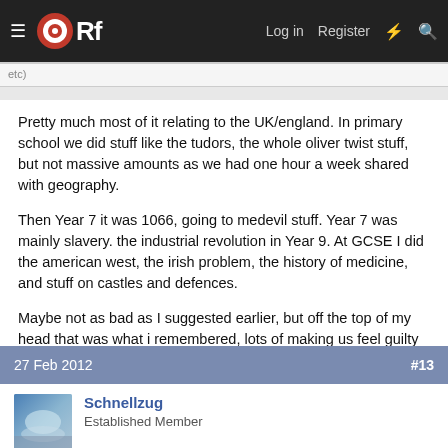ORf  Log in  Register
Pretty much most of it relating to the UK/england. In primary school we did stuff like the tudors, the whole oliver twist stuff, but not massive amounts as we had one hour a week shared with geography.
Then Year 7 it was 1066, going to medevil stuff. Year 7 was mainly slavery. the industrial revolution in Year 9. At GCSE I did the american west, the irish problem, the history of medicine, and stuff on castles and defences.
Maybe not as bad as I suggested earlier, but off the top of my head that was what i remembered, lots of making us feel guilty about some slaves 200 years ago that neither me or any member of my family had anything to do with, but yet somehow it was our fault....
27 Feb 2012   #13
Schnellzug
Established Member